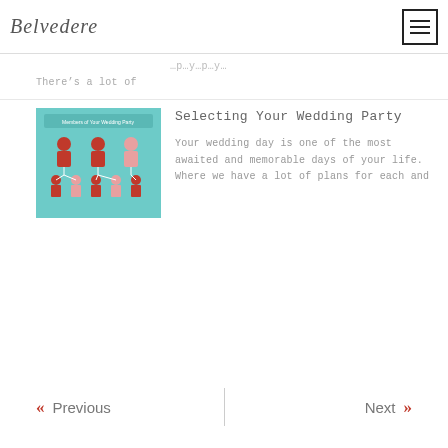Belvedere
There’s a lot of
Selecting Your Wedding Party
Your wedding day is one of the most awaited and memorable days of your life. Where we have a lot of plans for each and
Previous | Next